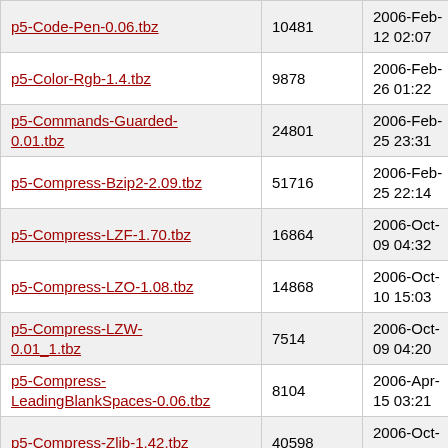| Filename | Size | Date |
| --- | --- | --- |
| p5-Code-Pen-0.06.tbz | 10481 | 2006-Feb-12 02:07 |
| p5-Color-Rgb-1.4.tbz | 9878 | 2006-Feb-26 01:22 |
| p5-Commands-Guarded-0.01.tbz | 24801 | 2006-Feb-25 23:31 |
| p5-Compress-Bzip2-2.09.tbz | 51716 | 2006-Feb-25 22:14 |
| p5-Compress-LZF-1.70.tbz | 16864 | 2006-Oct-09 04:32 |
| p5-Compress-LZO-1.08.tbz | 14868 | 2006-Oct-10 15:03 |
| p5-Compress-LZW-0.01_1.tbz | 7514 | 2006-Oct-09 04:20 |
| p5-Compress-LeadingBlankSpaces-0.06.tbz | 8104 | 2006-Apr-15 03:21 |
| p5-Compress-Zlib-1.42.tbz | 40598 | 2006-Oct-07 17:43 |
| p5-Config-Any-0.04.tbz | 28383 | 2006-Oct-18 08:05 |
| p5-Config-ApacheFormat-1.2.tbz | 21467 | 2006-Oct-12 02:09 |
| p5-Config-Auto-0.18.tbz | 12948 | 2006-Oct- |